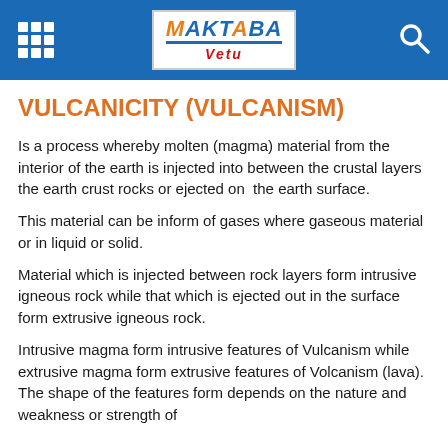MAKTABA Vetu
VULCANICITY (VULCANISM)
Is a process whereby molten (magma) material from the interior of the earth is injected into between the crustal layers the earth crust rocks or ejected on  the earth surface.
This material can be inform of gases where gaseous material or in liquid or solid.
Material which is injected between rock layers form intrusive igneous rock while that which is ejected out in the surface form extrusive igneous rock.
Intrusive magma form intrusive features of Vulcanism while extrusive magma form extrusive features of Volcanism (lava). The shape of the features form depends on the nature and weakness or strength of